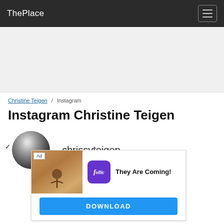ThePlace
[Figure (other): Advertisement banner placeholder area (light gray background)]
Christine Teigen / Instagram
Instagram Christine Teigen
[Figure (photo): Black and white profile photo of Chrissy Teigen in circular avatar format, with chrissyteigen username label]
[Figure (other): Ad overlay: Follic app advertisement with game image, purple Follic logo icon, tagline 'They Are Coming!' and DOWNLOAD button]